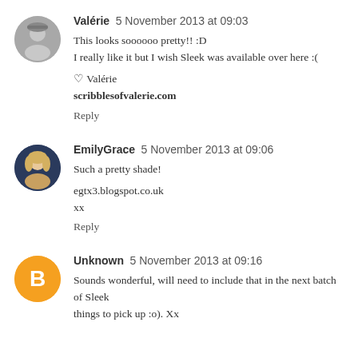[Figure (photo): Circular avatar photo of Valérie, black and white portrait]
Valérie 5 November 2013 at 09:03
This looks soooooo pretty!! :D
I really like it but I wish Sleek was available over here :(

♡ Valérie
scribblesofvalerie.com

Reply
[Figure (photo): Circular avatar photo of EmilyGrace, woman with blonde hair on dark blue background]
EmilyGrace 5 November 2013 at 09:06
Such a pretty shade!

egtx3.blogspot.co.uk
xx

Reply
[Figure (logo): Circular orange avatar with letter B (Blogger icon) for Unknown user]
Unknown 5 November 2013 at 09:16
Sounds wonderful, will need to include that in the next batch of Sleek things to pick up :o). Xx